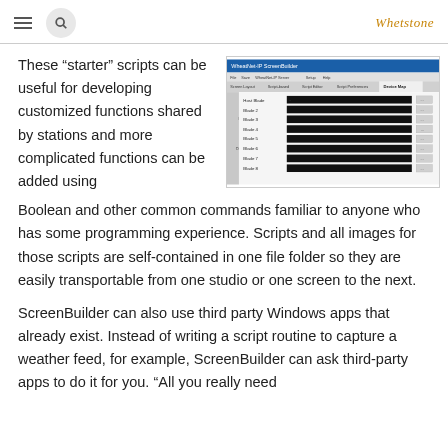Whetstone
These “starter” scripts can be useful for developing customized functions shared by stations and more complicated functions can be added using Boolean and other common commands familiar to anyone who has some programming experience. Scripts and all images for those scripts are self-contained in one file folder so they are easily transportable from one studio or one screen to the next.
[Figure (screenshot): Screenshot of WheatNet-IP ScreenBuilder application showing Screen Layout, Script-based, Script Editor, Script Preferences, and Device Map tabs. The Device Map tab is selected displaying a list: Host Blade, Blade 2, Blade 3, Blade 4, Blade 5, Blade 6, Blade 7, Blade 8 with black input fields next to each.]
ScreenBuilder can also use third party Windows apps that already exist. Instead of writing a script routine to capture a weather feed, for example, ScreenBuilder can ask third-party apps to do it for you. “All you really need